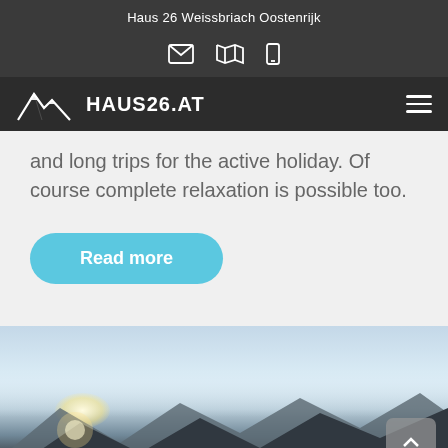Haus 26 Weissbriach Oostenrijk
[Figure (screenshot): Website navigation bar with logo showing mountain silhouette icon and HAUS26.AT text, plus hamburger menu icon]
and long trips for the active holiday. Of course complete relaxation is possible too.
Read more
[Figure (photo): Mountain landscape at sunrise or sunset with peaks silhouetted against a light blue sky, sun rising behind mountains on the left]